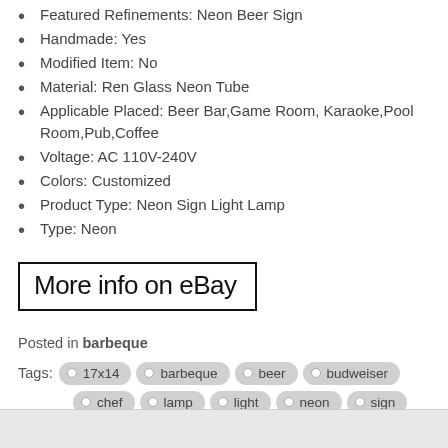Featured Refinements: Neon Beer Sign
Handmade: Yes
Modified Item: No
Material: Ren Glass Neon Tube
Applicable Placed: Beer Bar,Game Room, Karaoke,Pool Room,Pub,Coffee
Voltage: AC 110V-240V
Colors: Customized
Product Type: Neon Sign Light Lamp
Type: Neon
[Figure (other): Button/link box with text 'More info on eBay' with thick black border]
Posted in barbeque
17x14
barbeque
beer
budweiser
chef
lamp
light
neon
sign